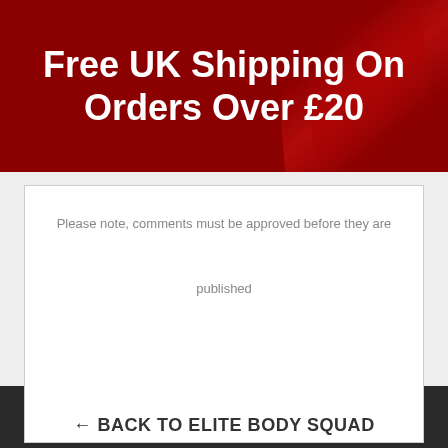Free UK Shipping On Orders Over £20
Please note, comments must be approved before they are published
← BACK TO ELITE BODY SQUAD
FOLLOW US ON INSTAGRAM